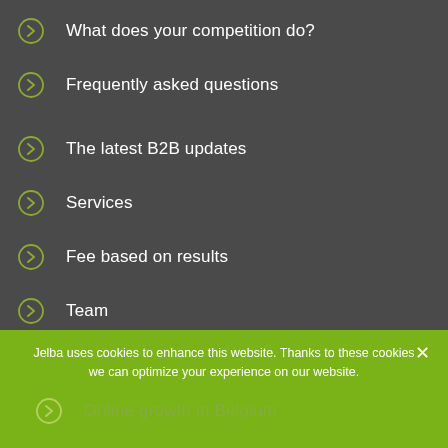What does your competition do?
Frequently asked questions
The latest B2B updates
Services
Fee based on results
Team
B2B webshop example
B2B webshop example
Online growth in Belgium
Jelba uses cookies to enhance this website. Thanks to these cookies we can optimize your experience on our website.